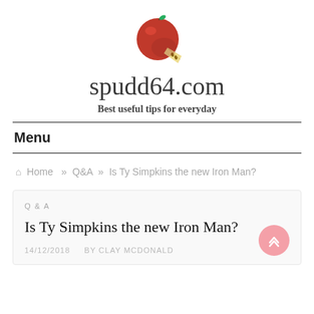[Figure (logo): Red apple with a slice/wedge cut out, illustrated style logo for spudd64.com]
spudd64.com
Best useful tips for everyday
Menu
Home » Q&A » Is Ty Simpkins the new Iron Man?
Q & A
Is Ty Simpkins the new Iron Man?
14/12/2018   BY CLAY MCDONALD